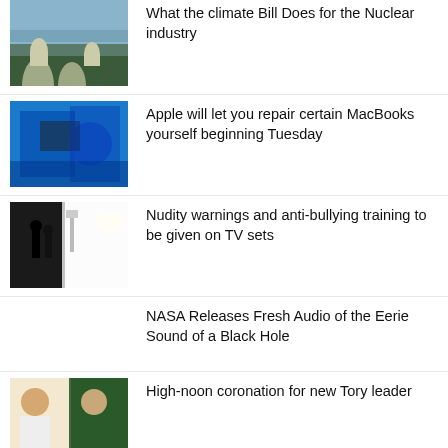[Figure (photo): Nuclear power plant cooling towers near water]
What the climate Bill Does for the Nuclear industry
[Figure (photo): Hands repairing MacBook electronics on blue surface]
Apple will let you repair certain MacBooks yourself beginning Tuesday
[Figure (photo): Silhouettes on a TV set with bright studio lighting]
Nudity warnings and anti-bullying training to be given on TV sets
NASA Releases Fresh Audio of the Eerie Sound of a Black Hole
[Figure (photo): Two politicians side by side - Tory leadership candidates]
High-noon coronation for new Tory leader
[Figure (photo): Close-up image related to UK inflation/banking]
UK inflation to go as high as 18%, banking